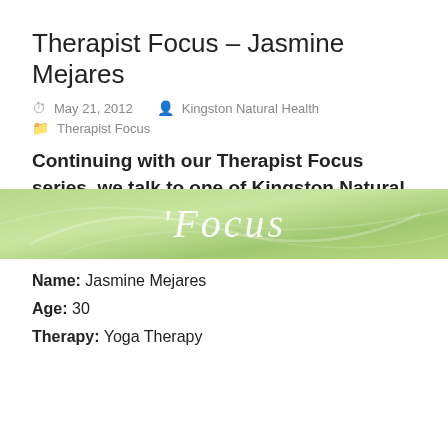[Figure (illustration): Green banner header with italic white text reading 'Focus' and decorative swirl lines on a green gradient background]
Therapist Focus – Jasmine Mejares
May 21, 2012   Kingston Natural Health   Therapist Focus
Continuing with our Therapist Focus series, we talk to one of Kingston Natural Health Centre's Yoga Therapists, Jasmine Mejares.
Name: Jasmine Mejares
Age: 30
Therapy: Yoga Therapy